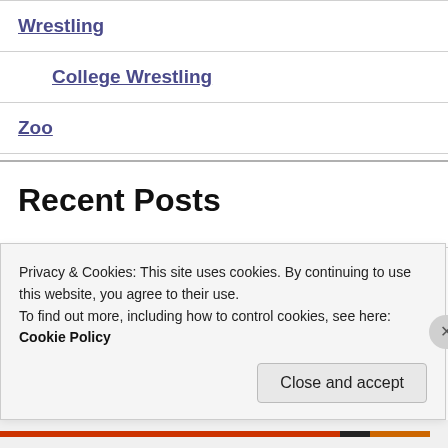Wrestling
College Wrestling
Zoo
Recent Posts
A Different Kind Of Fireworks
Privacy & Cookies: This site uses cookies. By continuing to use this website, you agree to their use.
To find out more, including how to control cookies, see here: Cookie Policy
Close and accept